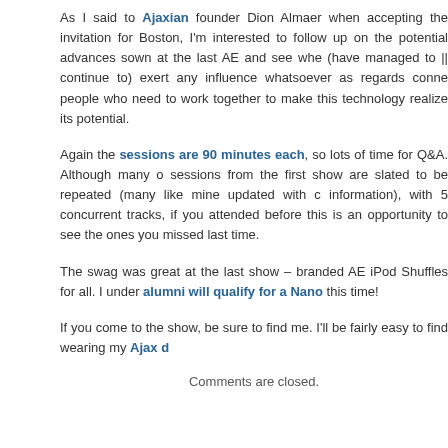As I said to Ajaxian founder Dion Almaer when accepting the invitation for Boston, I'm interested to follow up on the potential advances sown at the last AE and see whe (have managed to || continue to) exert any influence whatsoever as regards conne people who need to work together to make this technology realize its potential.
Again the sessions are 90 minutes each, so lots of time for Q&A. Although many sessions from the first show are slated to be repeated (many like mine updated with c information), with 5 concurrent tracks, if you attended before this is an opportunity to see the ones you missed last time.
The swag was great at the last show – branded AE iPod Shuffles for all. I under alumni will qualify for a Nano this time!
If you come to the show, be sure to find me. I'll be fairly easy to find wearing my Ajax d
Comments are closed.